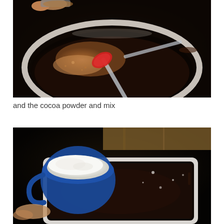[Figure (photo): Overhead view of a white mixing bowl with dark chocolate mixture, a red silicone spatula, and cocoa powder being added from a spoon. Dark background.]
and the cocoa powder and mix
[Figure (photo): A blue measuring cup filled with white flour held over a white baking dish containing dark chocolate brownie batter. Dark background with wooden surface visible.]